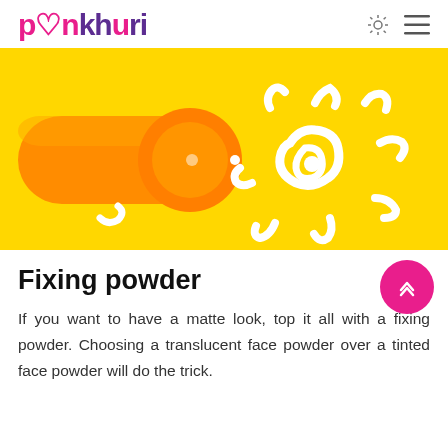pankhuri
[Figure (photo): Orange sunscreen tube lying on yellow background with white cream squeezed out in the shape of a sun with rays]
Fixing powder
If you want to have a matte look, top it all with a fixing powder. Choosing a translucent face powder over a tinted face powder will do the trick.